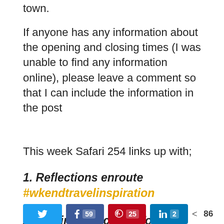town.
If anyone has any information about the opening and closing times (I was unable to find any information online), please leave a comment so that I can include the information in the post
This week Safari 254 links up with;
1. Reflections enroute #wkendtravelinspiration
2. Adelina's Pack Me To in #SundayTraveler
Please visit the sites for more wonderful photos and posts.
[Figure (other): Social share bar with Twitter, Facebook (59), Pinterest (25), LinkedIn (2) buttons and share count 86]